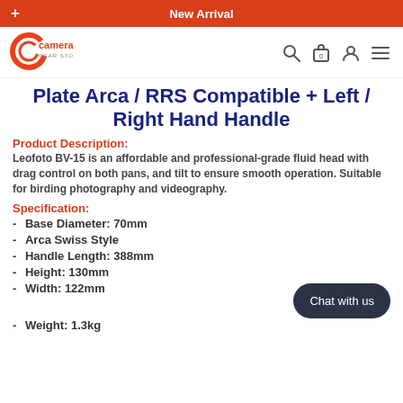New Arrival
[Figure (logo): Camera Gear Store logo with orange C arc and text]
Plate Arca / RRS Compatible + Left / Right Hand Handle
Product Description:
Leofoto BV-15 is an affordable and professional-grade fluid head with drag control on both pans, and tilt to ensure smooth operation. Suitable for birding photography and videography.
Specification:
Base Diameter: 70mm
Arca Swiss Style
Handle Length: 388mm
Height: 130mm
Width: 122mm
Weight: 1.3kg